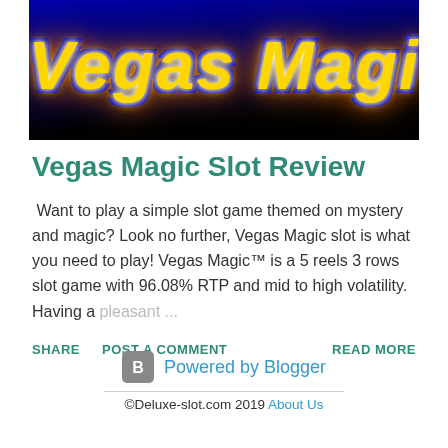[Figure (photo): Vegas Magic slot game banner with yellow and blue stylized text reading 'Vegas Magic' on a dark/black background with colorful neon-style lighting]
Vegas Magic Slot Review
Want to play a simple slot game themed on mystery and magic? Look no further, Vegas Magic slot is what you need to play! Vegas Magic™ is a 5 reels 3 rows slot game with 96.08% RTP and mid to high volatility.  Having a pleasant ...
SHARE   POST A COMMENT   READ MORE
Powered by Blogger
©Deluxe-slot.com 2019 About Us